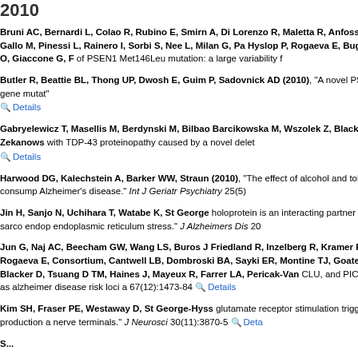2010
Bruni AC, Bernardi L, Colao R, Rubino E, Smirn A, Di Lorenzo R, Maletta R, Anfossi M, Gallo M, Pinessi L, Rainero I, Sorbi S, Nee L, Milan G, Pa Hyslop P, Rogaeva E, Bugiani O, Giaccone G, F of PSEN1 Met146Leu mutation: a large variability f
Butler R, Beattie BL, Thong UP, Dwosh E, Guim P, Sadovnick AD (2010), "A novel PS1 gene mutat" Details
Gabryelewicz T, Masellis M, Berdynski M, Bilbao Barcikowska M, Wszolek Z, Black SE, Zekanows with TDP-43 proteinopathy caused by a novel delet Details
Harwood DG, Kalechstein A, Barker WW, Straun (2010), "The effect of alcohol and tobacco consump Alzheimer's disease." Int J Geriatr Psychiatry 25(5)
Jin H, Sanjo N, Uchihara T, Watabe K, St George holoprotein is an interacting partner of sarco endop endoplasmic reticulum stress." J Alzheimers Dis 20
Jun G, Naj AC, Beecham GW, Wang LS, Buros J Friedland R, Inzelberg R, Kramer P, Rogaeva E, Consortium, Cantwell LB, Dombroski BA, Sayki ER, Montine TJ, Goate AM, Blacker D, Tsuang D TM, Haines J, Mayeux R, Farrer LA, Pericak-Van CLU, and PICALM as alzheimer disease risk loci a 67(12):1473-84 Details
Kim SH, Fraser PE, Westaway D, St George-Hyss glutamate receptor stimulation triggers production a nerve terminals." J Neurosci 30(11):3870-5 Deta